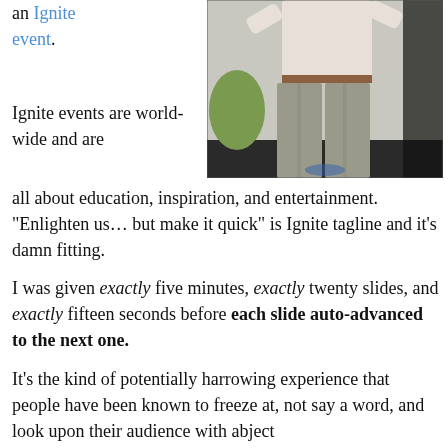an Ignite event.
[Figure (photo): Person standing on stage at an Ignite event, wearing a light shirt and grey trousers, viewed from the waist down]
Ignite events are world-wide and are all about education, inspiration, and entertainment. “Enlighten us… but make it quick” is Ignite tagline and it’s damn fitting.
I was given exactly five minutes, exactly twenty slides, and exactly fifteen seconds before each slide auto-advanced to the next one.
It’s the kind of potentially harrowing experience that people have been known to freeze at, not say a word, and look upon their audience with abject